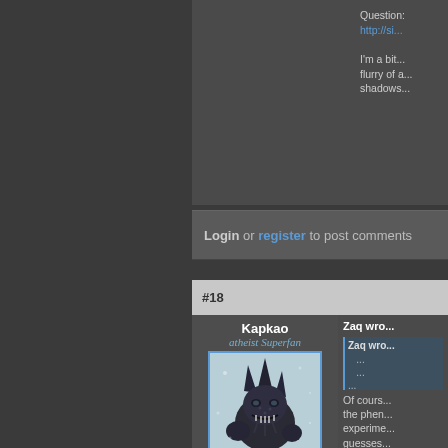Question: http://si...
I'm a bit... flurry of a... shadows...
Login or register to post comments
#18
Kapkao
atheist Superfan
[Figure (illustration): Avatar image of a dark fantasy creature - a menacing fish/monster with spikes and mechanical/alien features, rendered in blue-gray tones]
Posts: 4121
Joined: 2010-01-12
Offline
Zaq wro...
Zaq wro...
Of cours... the phen... experime... guesses... to "inven... that maka...